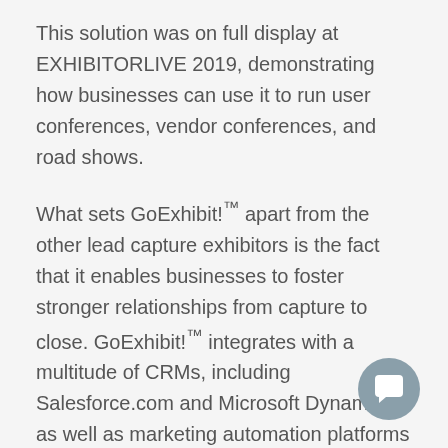This solution was on full display at EXHIBITORLIVE 2019, demonstrating how businesses can use it to run user conferences, vendor conferences, and road shows.
What sets GoExhibit!™ apart from the other lead capture exhibitors is the fact that it enables businesses to foster stronger relationships from capture to close. GoExhibit!™ integrates with a multitude of CRMs, including Salesforce.com and Microsoft Dynamics, as well as marketing automation platforms such as Salesforce.com Pardot, Oracle Eloqua, Salesforce.com Marketing Cloud, Adobe Marketo, and HubSpot. It supports all type events; even those without badges. It's
[Figure (other): Chat/messenger button icon in the bottom right corner — a rounded square chat bubble icon on a grey circular background]